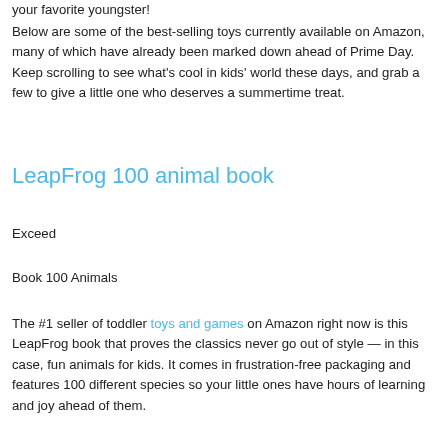your favorite youngster!
Below are some of the best-selling toys currently available on Amazon, many of which have already been marked down ahead of Prime Day. Keep scrolling to see what's cool in kids' world these days, and grab a few to give a little one who deserves a summertime treat.
LeapFrog 100 animal book
Exceed
Book 100 Animals
The #1 seller of toddler toys and games on Amazon right now is this LeapFrog book that proves the classics never go out of style — in this case, fun animals for kids. It comes in frustration-free packaging and features 100 different species so your little ones have hours of learning and joy ahead of them.